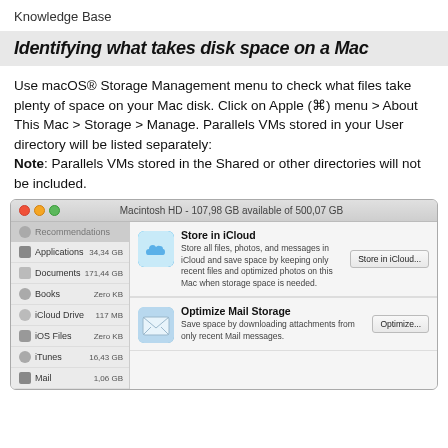▶ Knowledge Base
Identifying what takes disk space on a Mac
Use macOS® Storage Management menu to check what files take plenty of space on your Mac disk. Click on Apple (⌘) menu > About This Mac > Storage > Manage. Parallels VMs stored in your User directory will be listed separately: Note: Parallels VMs stored in the Shared or other directories will not be included.
[Figure (screenshot): macOS Storage Management window showing Macintosh HD with 107.98 GB available of 500.07 GB. Sidebar lists: Recommendations, Applications (34.34 GB), Documents (171.44 GB), Books (Zero KB), iCloud Drive (117 MB), iOS Files (Zero KB), iTunes (16.43 GB), Mail (1.06 GB). Main panel shows Store in iCloud and Optimize Mail Storage options.]